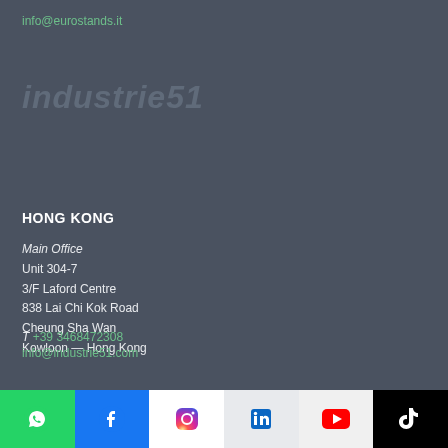info@eurostands.it
[Figure (other): Faint watermark text reading 'industrie51' with a partial circular logo shape in muted blue-gray tones]
HONG KONG
Main Office
Unit 304-7
3/F Laford Centre
838 Lai Chi Kok Road
Cheung Sha Wan
Kowloon — Hong Kong
T +39 3468472308
info@industrie51.com
[Figure (infographic): Social media icon bar: WhatsApp (green), Facebook (blue), Instagram (white with gradient icon), LinkedIn (light gray), YouTube (light gray with red icon), TikTok (black)]